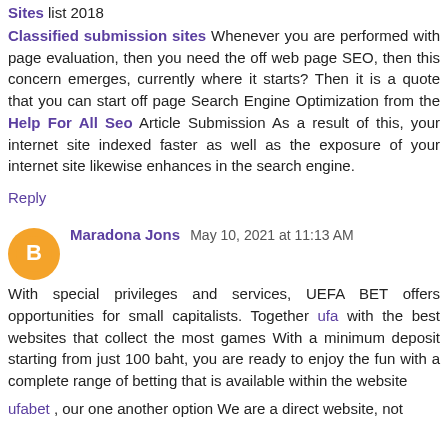Sites list 2018
Classified submission sites Whenever you are performed with page evaluation, then you need the off web page SEO, then this concern emerges, currently where it starts? Then it is a quote that you can start off page Search Engine Optimization from the Help For All Seo Article Submission As a result of this, your internet site indexed faster as well as the exposure of your internet site likewise enhances in the search engine.
Reply
Maradona Jons May 10, 2021 at 11:13 AM
With special privileges and services, UEFA BET offers opportunities for small capitalists. Together ufa with the best websites that collect the most games With a minimum deposit starting from just 100 baht, you are ready to enjoy the fun with a complete range of betting that is available within the website
ufabet , our one another option We are a direct website, not